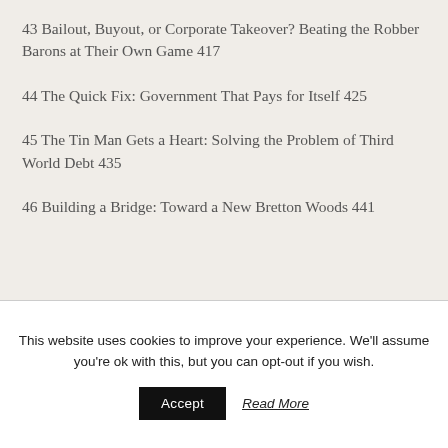43 Bailout, Buyout, or Corporate Takeover? Beating the Robber Barons at Their Own Game 417
44 The Quick Fix: Government That Pays for Itself 425
45 The Tin Man Gets a Heart: Solving the Problem of Third World Debt 435
46 Building a Bridge: Toward a New Bretton Woods 441
This website uses cookies to improve your experience. We'll assume you're ok with this, but you can opt-out if you wish.
Accept  Read More